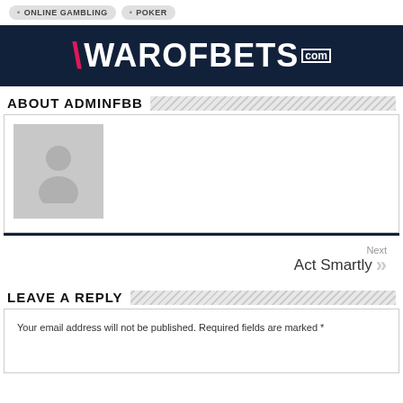ONLINE GAMBLING  POKER
[Figure (logo): WarOfBets.com logo on dark navy background]
ABOUT ADMINFBB
[Figure (photo): Default user avatar placeholder image]
Next  Act Smartly
LEAVE A REPLY
Your email address will not be published. Required fields are marked *